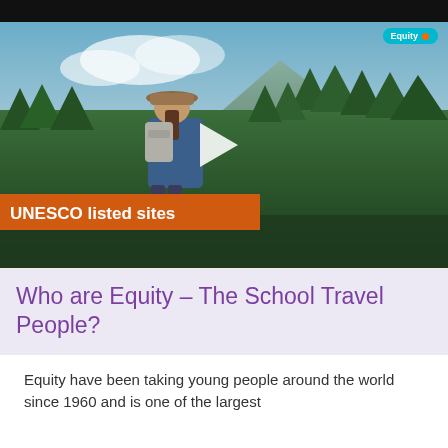[Figure (screenshot): Video thumbnail showing a person wearing a hat and backpack standing among trees, with text overlay 'UNESCO listed sites' in orange bar, Equity logo badge in top right, and a play button in the center. Dark top bar at top.]
Who are Equity – The School Travel People?
Equity have been taking young people around the world since 1960 and is one of the largest...